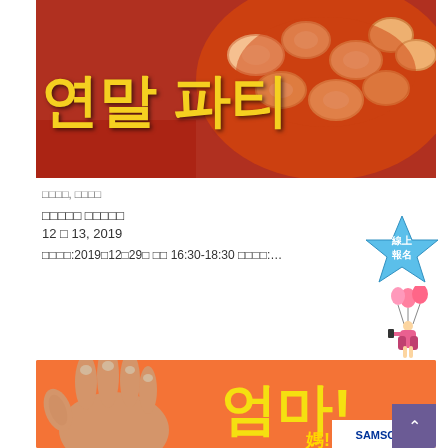[Figure (photo): Korean year-end party promotional banner with food photo showing sausage dish and Korean text '연말 파티' (Year-end Party) in yellow on red/orange background]
□□□□, □□□□
□□□□□ □□□□□
12 □ 13, 2019
□□□□:2019□12□29□ □□ 16:30-18:30 □□□□:…
[Figure (illustration): Blue star badge with Chinese text '線上報名' (Online Registration) and illustration of child with balloons]
[Figure (photo): Orange promotional banner with hand graphic and Korean text '엄마!' (Mom!) in yellow, Chinese text '媽!' and SAMSOME logo]